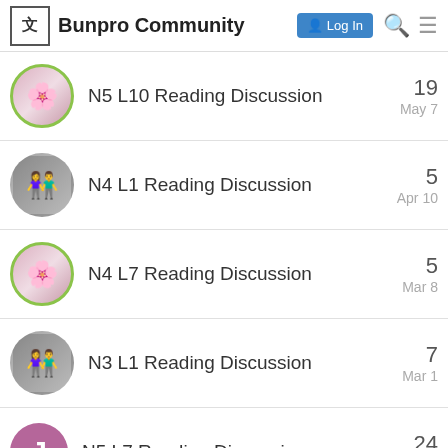Bunpro Community  Log In
N5 L10 Reading Discussion  19  May 7
N4 L1 Reading Discussion  5  Apr 10
N4 L7 Reading Discussion  5  Mar 8
N3 L1 Reading Discussion  7  Mar 1
N5 L7 Reading Discussion  24  Feb 15
N4 L5 Reading Discussion  2  Feb 6